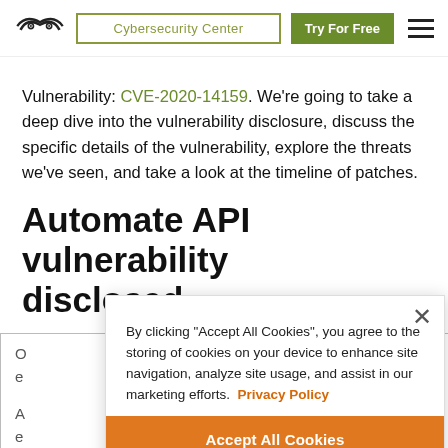Cybersecurity Center | Try For Free
Vulnerability: CVE-2020-14159. We're going to take a deep dive into the vulnerability disclosure, discuss the specific details of the vulnerability, explore the threats we've seen, and take a look at the timeline of patches.
Automate API vulnerability disclosed
By clicking “Accept All Cookies”, you agree to the storing of cookies on your device to enhance site navigation, analyze site usage, and assist in our marketing efforts. Privacy Policy
Accept All Cookies